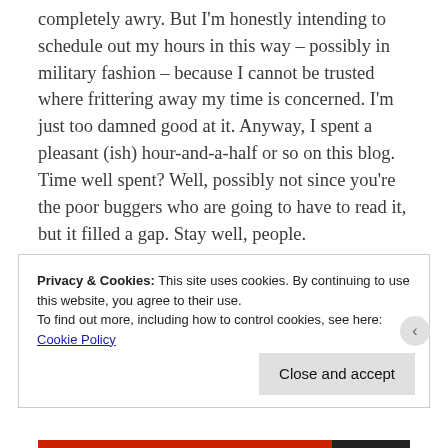completely awry. But I'm honestly intending to schedule out my hours in this way – possibly in military fashion – because I cannot be trusted where frittering away my time is concerned. I'm just too damned good at it. Anyway, I spent a pleasant (ish) hour-and-a-half or so on this blog. Time well spent? Well, possibly not since you're the poor buggers who are going to have to read it, but it filled a gap. Stay well, people.
Privacy & Cookies: This site uses cookies. By continuing to use this website, you agree to their use.
To find out more, including how to control cookies, see here:
Cookie Policy
Close and accept